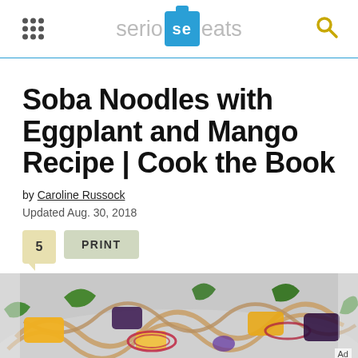serious eats
Soba Noodles with Eggplant and Mango Recipe | Cook the Book
by Caroline Russock
Updated Aug. 30, 2018
5   PRINT
[Figure (photo): Close-up photo of soba noodles with eggplant and mango salad in a bowl, showing noodles, red onion rings, mango chunks, greens and other vegetables. Ad label in lower right.]